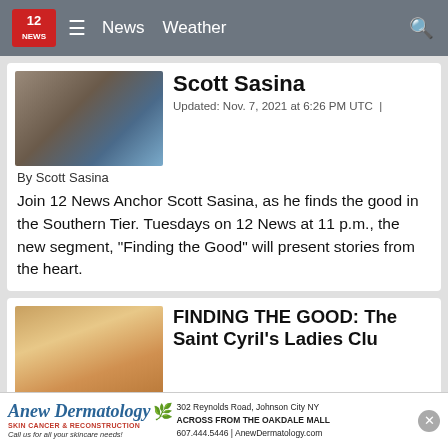12 NEWS | News | Weather
Scott Sasina
Updated: Nov. 7, 2021 at 6:26 PM UTC |
By Scott Sasina
Join 12 News Anchor Scott Sasina, as he finds the good in the Southern Tier. Tuesdays on 12 News at 11 p.m., the new segment, "Finding the Good" will present stories from the heart.
FINDING THE GOOD: The Saint Cyril's Ladies Clu
Updated: Nov. 7, 2021 at 6:20 PM UTC | By Scott Sasina
Inside St. Cyril's Church in the First Ward of Binghamton, you'll find a group of friends hard at work. All ro
Anew Dermatology SKIN CANCER & RECONSTRUCTION | Call us for all your skincare needs! | 302 Reynolds Road, Johnson City NY ACROSS FROM THE OAKDALE MALL | 607.444.5446 | AnewDermatology.com